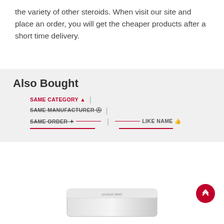the variety of other steroids. When visit our site and place an order, you will get the cheaper products after a short time delivery.
Also Bought
SAME CATEGORY | SAME MANUFACTURER | SAME ORDER | LIKE NAME
[Figure (screenshot): Partial product image at the bottom of the page]